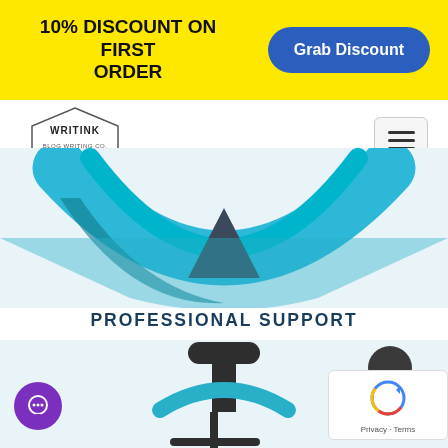10% DISCOUNT ON FIRST ORDER
[Figure (logo): Writink logo - hexagonal badge style text logo]
[Figure (illustration): A smiling face / arc shape in blue and teal gradient colors with a dark triangle pointing downward in the center, representing a support/service icon]
PROFESSIONAL SUPPORT
[Figure (illustration): An office chair / support desk illustration in dark grey and teal/blue colors, partially visible at the bottom]
[Figure (illustration): reCAPTCHA badge at bottom right corner]
[Figure (illustration): Purple chat bubble icon at bottom left]